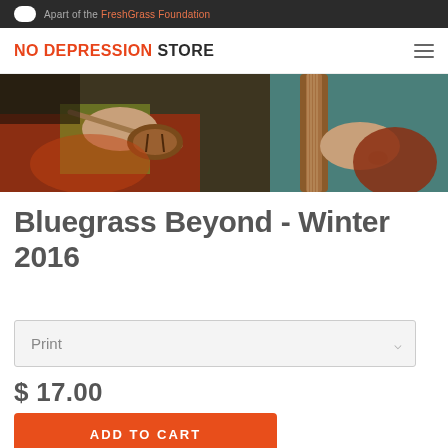NO DEPRESSION STORE
[Figure (illustration): Illustration of musicians playing string instruments including violin/fiddle and guitar, painted in earthy tones with teal accents. Cropped to show hands and instruments.]
Bluegrass Beyond - Winter 2016
Print
$ 17.00
ADD TO CART